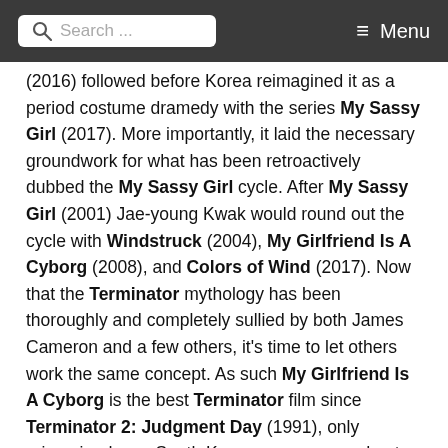Search ... Menu
(2016) followed before Korea reimagined it as a period costume dramedy with the series My Sassy Girl (2017). More importantly, it laid the necessary groundwork for what has been retroactively dubbed the My Sassy Girl cycle. After My Sassy Girl (2001) Jae-young Kwak would round out the cycle with Windstruck (2004), My Girlfriend Is A Cyborg (2008), and Colors of Wind (2017). Now that the Terminator mythology has been thoroughly and completely sullied by both James Cameron and a few others, it's time to let others work the same concept. As such My Girlfriend Is A Cyborg is the best Terminator film since Terminator 2: Judgment Day (1991), only reimagined as a South Korean rom-com and not a blockbuster action epic.